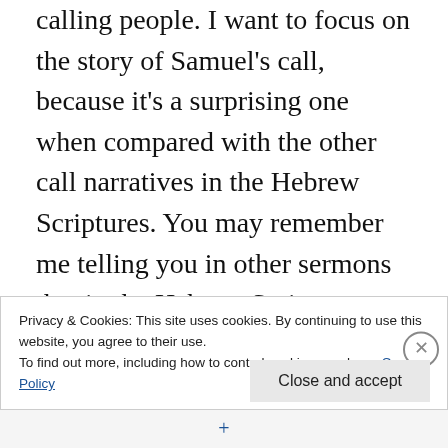calling people. I want to focus on the story of Samuel's call, because it's a surprising one when compared with the other call narratives in the Hebrew Scriptures. You may remember me telling you in other sermons that in the Hebrew Scriptures, when God called someone the person so called, whether Moses, Gideon, Isaiah or Jeremiah, was less than thrilled. Jonah, whose story we'll hear next week, responded to his call by running as far as he could in the opposite direction. Few people in the Hebrew Scriptures who are called by God seem to rejoice at their
Privacy & Cookies: This site uses cookies. By continuing to use this website, you agree to their use.
To find out more, including how to control cookies, see here: Cookie Policy
Close and accept